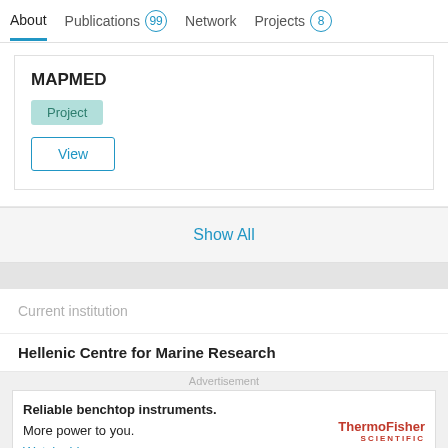About | Publications 99 | Network | Projects 8
MAPMED
Project
View
Show All
Current institution
Hellenic Centre for Marine Research
Advertisement
Reliable benchtop instruments. More power to you. Watch video ›
[Figure (logo): ThermoFisher Scientific logo in red]